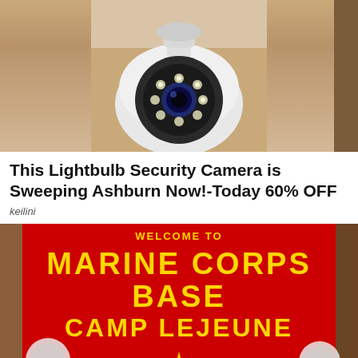[Figure (photo): Close-up photo of a white dome security camera against a beige/brown background]
This Lightbulb Security Camera is Sweeping Ashburn Now!-Today 60% OFF
keilini
[Figure (photo): Red Marine Corps Base Camp Lejeune entrance sign with gold lettering and emblem]
By clicking “Accept All Cookies”, you agree to the storing of cookies on your device to enhance site navigation, analyze site usage, and assist in our marketing efforts.
Cookies Settings
Accept All Cookies